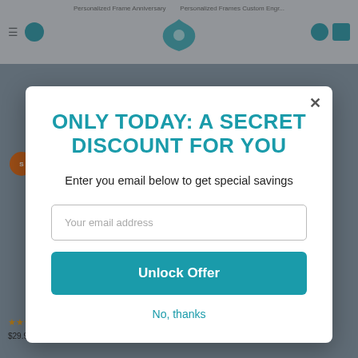[Figure (screenshot): E-commerce website background showing navigation bar with hamburger menu, search icon, logo (teal rose design), user icon, and cart icon. Page is dimmed behind a modal overlay. Bottom shows product thumbnails with star ratings and price $29.99 - $79.99.]
ONLY TODAY: A SECRET DISCOUNT FOR YOU
Enter you email below to get special savings
Your email address
Unlock Offer
No, thanks